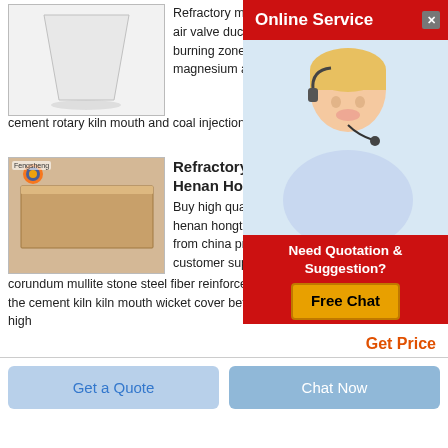[Figure (photo): White/grey ceramic or refractory product (funnel/block shape) on white background]
Refractory material used in tertiary air duct and air valve duct magnesite chrome brick for burning zone the transitional belt with magnesium alumina transitional zone wi... cement rotary kiln mouth and coal injection duct with re...
[Figure (photo): Online Service popup overlay with red banner, agent photo of blonde woman with headset, and Need Quotation & Suggestion Free Chat button]
[Figure (photo): Refractory brick (beige/tan rectangular brick) with small Fengsheng logo in top left corner]
Refractory Li... Henan Hongta...
Buy high quality ref... henan hongtai kiln ... from china product ... customer support h... corundum mullite stone steel fiber reinforced refractory castable first used in the cement kiln kiln mouth wicket cover before and after cooling machine in high
Get Price
Get a Quote
Chat Now